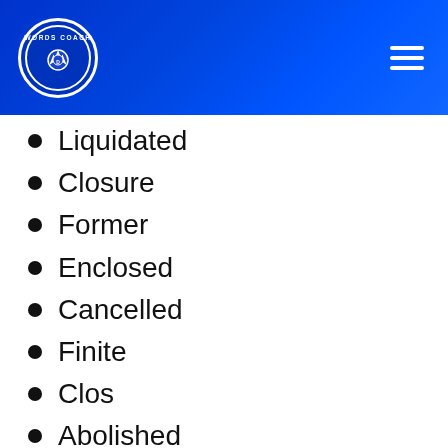Words Coach
Liquidated
Closure
Former
Enclosed
Cancelled
Finite
Clos
Abolished
Outgoing
Deleted